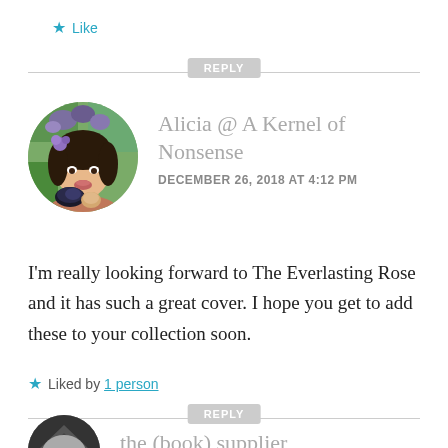Like
REPLY
Alicia @ A Kernel of Nonsense
DECEMBER 26, 2018 AT 4:12 PM
[Figure (photo): Circular avatar photo of a young woman with flowers in her hair, holding something, outdoors with green background]
I'm really looking forward to The Everlasting Rose and it has such a great cover. I hope you get to add these to your collection soon.
Liked by 1 person
REPLY
[Figure (photo): Partial circular avatar at bottom, gray/dark tones, partially cut off]
the (book) supplier